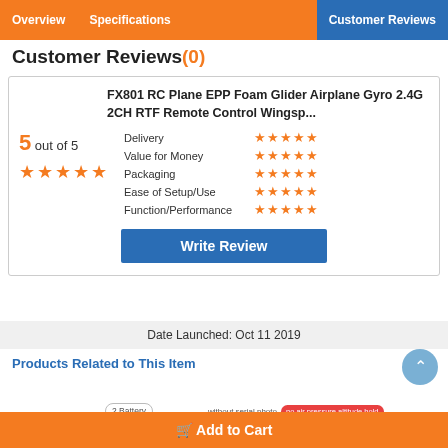Overview | Specifications | Customer Reviews
Customer Reviews(0)
FX801 RC Plane EPP Foam Glider Airplane Gyro 2.4G 2CH RTF Remote Control Wingsp...
5 out of 5 — Delivery: 5 stars, Value for Money: 5 stars, Packaging: 5 stars, Ease of Setup/Use: 5 stars, Function/Performance: 5 stars
Write Review
Date Launched: Oct 11 2019
Products Related to This Item
2 Battery | without serial photo  no air pressure altitude hold
Add to Cart